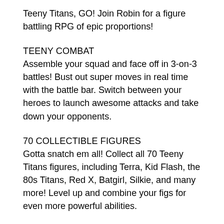Teeny Titans, GO! Join Robin for a figure battling RPG of epic proportions!
TEENY COMBAT
Assemble your squad and face off in 3-on-3 battles! Bust out super moves in real time with the battle bar. Switch between your heroes to launch awesome attacks and take down your opponents.
70 COLLECTIBLE FIGURES
Gotta snatch em all! Collect all 70 Teeny Titans figures, including Terra, Kid Flash, the 80s Titans, Red X, Batgirl, Silkie, and many more! Level up and combine your figs for even more powerful abilities.
EXPLORE JUMP CITY
Race from store to store to shop for your favorite super hero